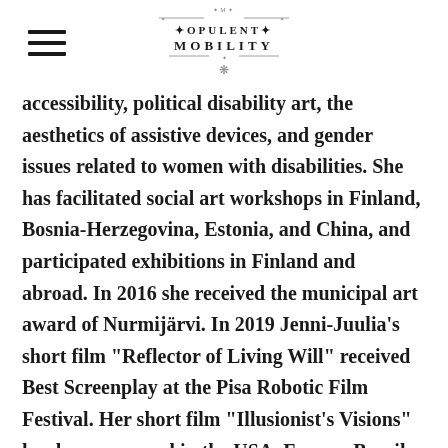Opulent Mobility
accessibility, political disability art, the aesthetics of assistive devices, and gender issues related to women with disabilities. She has facilitated social art workshops in Finland, Bosnia-Herzegovina, Estonia, and China, and participated exhibitions in Finland and abroad. In 2016 she received the municipal art award of Nurmijärvi. In 2019 Jenni-Juulia's short film "Reflector of Living Will" received Best Screenplay at the Pisa Robotic Film Festival. Her short film "Illusionist's Visions" has been screened in the USA, France, Brazil, Canada and Poland. For her current project, Jenni-Juulia is